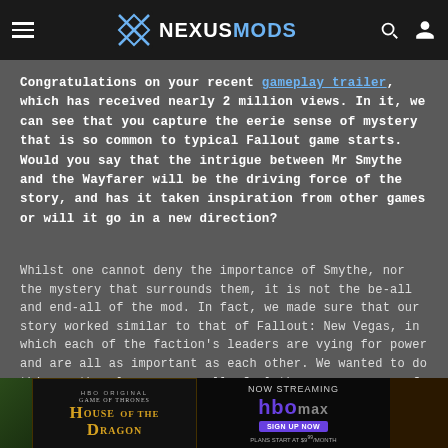NEXUSMODS
Congratulations on your recent gameplay trailer, which has received nearly 2 million views. In it, we can see that you capture the eerie sense of mystery that is so common to typical Fallout game starts. Would you say that the intrigue between Mr Smythe and the Wayfarer will be the driving force of the story, and has it taken inspiration from other games or will it go in a new direction?
Whilst one cannot deny the importance of Smythe, nor the mystery that surrounds them, it is not the be-all and end-all of the mod. In fact, we made sure that our story worked similar to that of Fallout: New Vegas, in which each of the faction's leaders are vying for power and are all as important as each other. We wanted to do this so the player can really feel the consequences of their actions when they interact with one of the mai n actions.
[Figure (screenshot): HBO House of the Dragon and HBO Max advertisement banner at the bottom of the page]